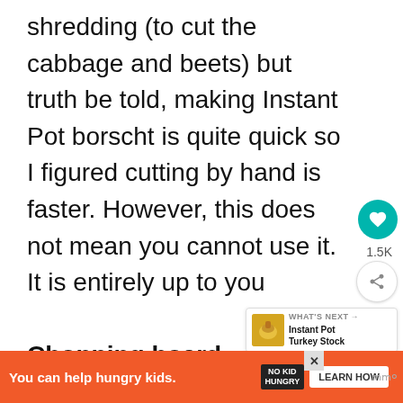shredding (to cut the cabbage and beets) but truth be told, making Instant Pot borscht is quite quick so I figured cutting by hand is faster. However, this does not mean you cannot use it. It is entirely up to you
Chopping board – I love using the plastic ones that I can bend. That way I just transfer everything easily into any po...
[Figure (screenshot): UI overlay elements: heart/like button (teal circle), share button, 1.5K count, 'What's Next' widget showing Instant Pot Turkey Stock thumbnail, and an ad banner for No Kid Hungry]